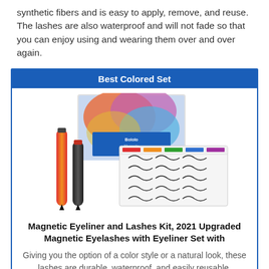synthetic fibers and is easy to apply, remove, and reuse. The lashes are also waterproof and will not fade so that you can enjoy using and wearing them over and over again.
Best Colored Set
[Figure (photo): Product photo of a magnetic eyeliner and lashes kit showing two colored eyeliner pens, a display tray with 10 pairs of false lashes, and colorful packaging.]
Magnetic Eyeliner and Lashes Kit, 2021 Upgraded Magnetic Eyelashes with Eyeliner Set with
Giving you the option of a color style or a natural look, these lashes are durable, waterproof, and easily reusable.